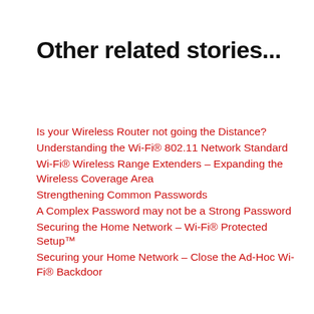Other related stories...
Is your Wireless Router not going the Distance?
Understanding the Wi-Fi® 802.11 Network Standard
Wi-Fi® Wireless Range Extenders – Expanding the Wireless Coverage Area
Strengthening Common Passwords
A Complex Password may not be a Strong Password
Securing the Home Network – Wi-Fi® Protected Setup™
Securing your Home Network – Close the Ad-Hoc Wi-Fi® Backdoor